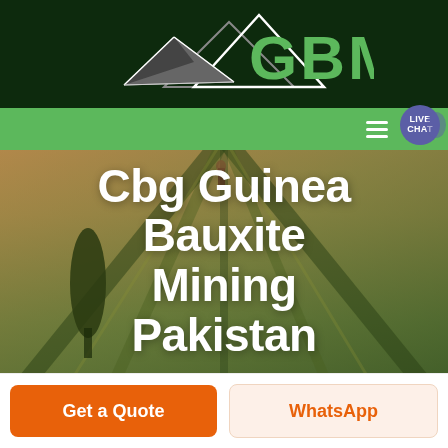[Figure (logo): GBM logo with mountain/arrow icon and green GBM text on dark green background]
[Figure (screenshot): Navigation bar with green background, hamburger menu icon and live chat bubble]
[Figure (photo): Aerial view of agricultural fields with green and golden tones, trees visible]
Cbg Guinea Bauxite Mining Pakistan
Get a Quote
WhatsApp